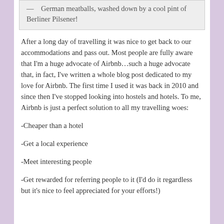— German meatballs, washed down by a cool pint of Berliner Pilsener!
After a long day of travelling it was nice to get back to our accommodations and pass out. Most people are fully aware that I'm a huge advocate of Airbnb…such a huge advocate that, in fact, I've written a whole blog post dedicated to my love for Airbnb. The first time I used it was back in 2010 and since then I've stopped looking into hostels and hotels. To me, Airbnb is just a perfect solution to all my travelling woes:
-Cheaper than a hotel
-Get a local experience
-Meet interesting people
-Get rewarded for referring people to it (I'd do it regardless but it's nice to feel appreciated for your efforts!)